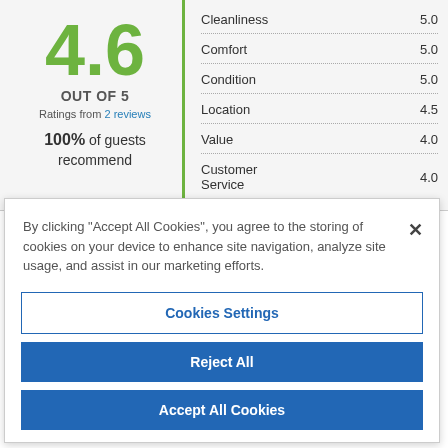4.6
OUT OF 5
Ratings from 2 reviews
100% of guests recommend
| Category | Score |
| --- | --- |
| Cleanliness | 5.0 |
| Comfort | 5.0 |
| Condition | 5.0 |
| Location | 4.5 |
| Value | 4.0 |
| Customer Service | 4.0 |
By clicking "Accept All Cookies", you agree to the storing of cookies on your device to enhance site navigation, analyze site usage, and assist in our marketing efforts.
Cookies Settings
Reject All
Accept All Cookies